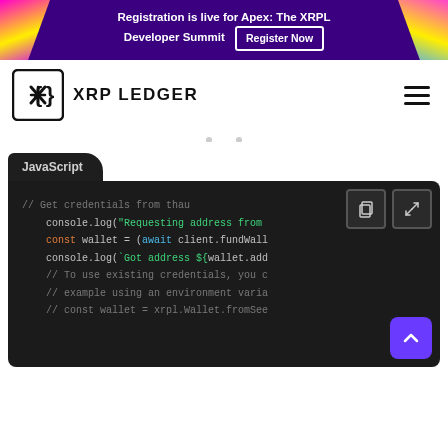Registration is live for Apex: The XRPL Developer Summit  Register Now
[Figure (logo): XRP Ledger logo with curly brace and X symbol]
XRP LEDGER
[Figure (screenshot): JavaScript code block showing credentials fetching code with console.log statements, const wallet declaration using await client.fundWall, and comments about existing credentials]
JavaScript